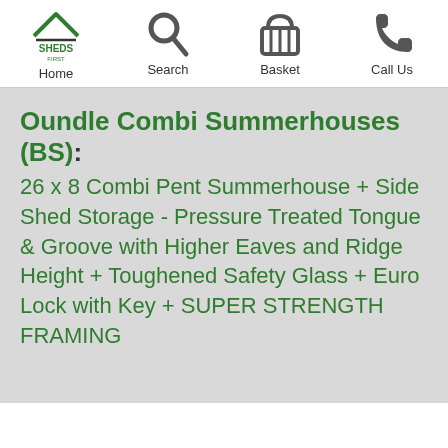Home | Search | Basket | Call Us
Oundle Combi Summerhouses (BS): 26 x 8 Combi Pent Summerhouse + Side Shed Storage - Pressure Treated Tongue & Groove with Higher Eaves and Ridge Height + Toughened Safety Glass + Euro Lock with Key + SUPER STRENGTH FRAMING